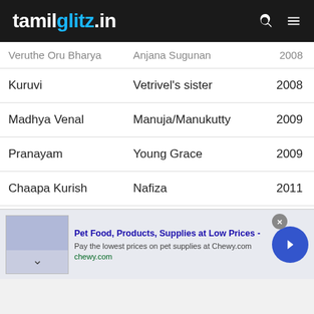tamilglitz.in
| Film | Role | Year |
| --- | --- | --- |
| Veruthe Oru Bharya | Anjana Sugunan | 2008 |
| Kuruvi | Vetrivel's sister | 2008 |
| Madhya Venal | Manuja/Manukutty | 2009 |
| Pranayam | Young Grace | 2009 |
| Chaapa Kurish | Nafiza | 2011 |
| Thattathin Marayathu | Fatima | 2012 |
| Romans | Elena | 2012 |
[Figure (infographic): Advertisement banner for Chewy.com pet supplies: 'Pet Food, Products, Supplies at Low Prices - Pay the lowest prices on pet supplies at Chewy.com, chewy.com']